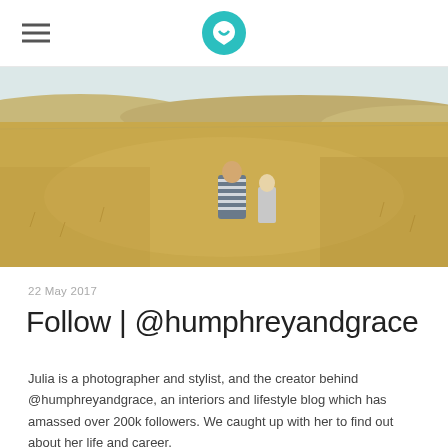[Figure (photo): Aerial/landscape view of a golden wheat field with rolling hills in the background. Two figures (adults or children) are seen from behind, crouching in the field, one wearing a striped shirt.]
22 May 2017
Follow | @humphreyandgrace
Julia is a photographer and stylist, and the creator behind @humphreyandgrace, an interiors and lifestyle blog which has amassed over 200k followers. We caught up with her to find out about her life and career.